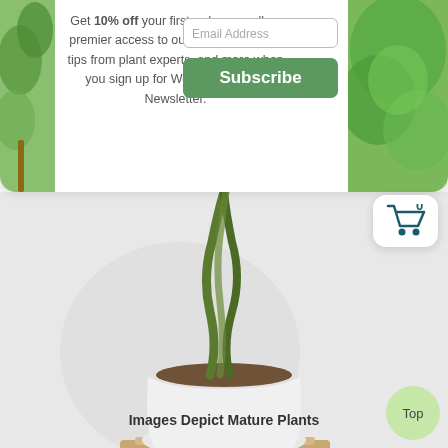Get 10% off your first order as well as premier access to our specials, insider tips from plant experts, and more when you sign up for Woodie's Weekly Newsletter.
[Figure (screenshot): Email address input field and Subscribe button for Woodie's Weekly Newsletter signup]
[Figure (photo): Main product photo: braided trunk tree/fig plant in white pot on wooden stand, against light grey background]
[Figure (photo): Thumbnail photo of mature plant with braided trunk in white pot, full view]
[Figure (photo): Thumbnail photo of dense green foliage close-up]
Images Depict Mature Plants